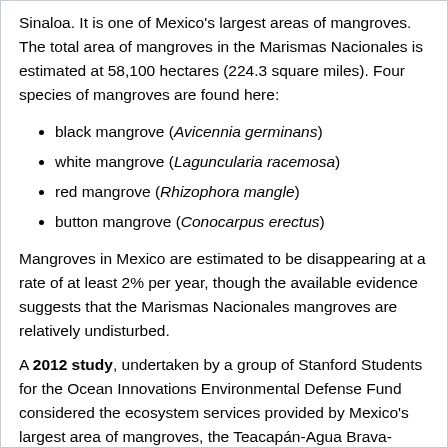Sinaloa. It is one of Mexico's largest areas of mangroves. The total area of mangroves in the Marismas Nacionales is estimated at 58,100 hectares (224.3 square miles). Four species of mangroves are found here:
black mangrove (Avicennia germinans)
white mangrove (Laguncularia racemosa)
red mangrove (Rhizophora mangle)
button mangrove (Conocarpus erectus)
Mangroves in Mexico are estimated to be disappearing at a rate of at least 2% per year, though the available evidence suggests that the Marismas Nacionales mangroves are relatively undisturbed.
A 2012 study, undertaken by a group of Stanford Students for the Ocean Innovations Environmental Defense Fund considered the ecosystem services provided by Mexico's largest area of mangroves, the Teacapán-Agua Brava-Marismas Nacionales Lagoon System of Nayarit and southern Sinaloa, and attempted to calculate the economic value...